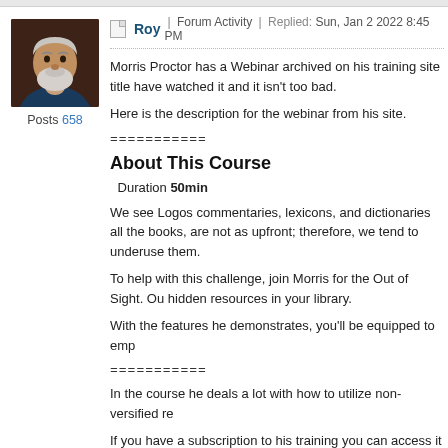Roy | Forum Activity | Replied: Sun, Jan 2 2022 8:45 PM
Morris Proctor has a Webinar archived on his training site title have watched it and it isn't too bad.
Here is the description for the webinar from his site.
===========
About This Course
Duration 50min
We see Logos commentaries, lexicons, and dictionaries all the books, are not as upfront; therefore, we tend to underuse them.
To help with this challenge, join Morris for the Out of Sight. Ou hidden resources in your library.
With the features he demonstrates, you'll be equipped to emp
===========
In the course he deals a lot with how to utilize non-versified re
If you have a subscription to his training you can access it alre
You can also subscribe for a single month.
Disclaimer: I'm not part of Mr. Proctor's business, nor do I rece